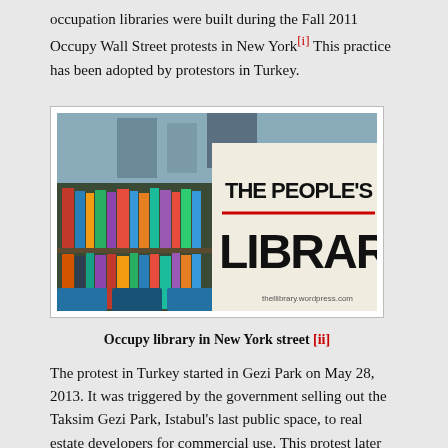occupation libraries were built during the Fall 2011 Occupy Wall Street protests in New York[i] This practice has been adopted by protestors in Turkey.
[Figure (photo): Photograph of a street library setup with books displayed on shelves and a large handwritten sign reading 'THE PEOPLE'S LIBRARY'. The sign has a red underline. Books are stacked and organized in blue bins and on makeshift shelves on a city street.]
Occupy library in New York street [ii]
The protest in Turkey started in Gezi Park on May 28, 2013. It was triggered by the government selling out the Taksim Gezi Park, Istabul's last public space, to real estate developers for commercial use. This protest later turned into a large scale civil rights event to pursue